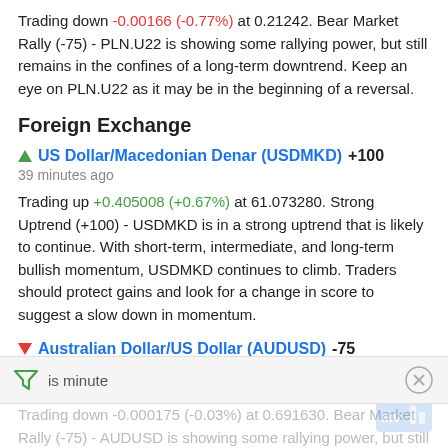Trading down -0.00166 (-0.77%) at 0.21242. Bear Market Rally (-75) - PLN.U22 is showing some rallying power, but still remains in the confines of a long-term downtrend. Keep an eye on PLN.U22 as it may be in the beginning of a reversal.
Foreign Exchange
▲ US Dollar/Macedonian Denar (USDMKD) +100
39 minutes ago
Trading up +0.405008 (+0.67%) at 61.073280. Strong Uptrend (+100) - USDMKD is in a strong uptrend that is likely to continue. With short-term, intermediate, and long-term bullish momentum, USDMKD continues to climb. Traders should protect gains and look for a change in score to suggest a slow down in momentum.
▼ Australian Dollar/US Dollar (AUDUSD) -75
is minute
Trading down -0.000175 (-0.03%) at 0.691630. Bear Market Rally (-75) - AUDUSD is showing some rallying power, but still remains in the confines of a long-term downtrend. Keep an eye on AUD... it may be in the beginning of a reversal.